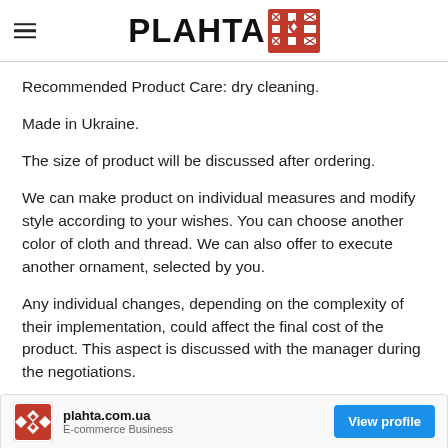PLAHTA
Recommended Product Care: dry cleaning.
Made in Ukraine.
The size of product will be discussed after ordering.
We can make product on individual measures and modify style according to your wishes. You can choose another color of cloth and thread. We can also offer to execute another ornament, selected by you.
Any individual changes, depending on the complexity of their implementation, could affect the final cost of the product. This aspect is discussed with the manager during the negotiations.
plahta.com.ua
View profile